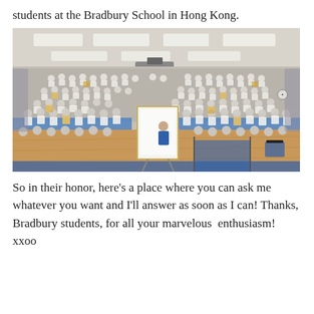students at the Bradbury School in Hong Kong.
[Figure (photo): Large group photo of hundreds of students sitting in a school gymnasium or assembly hall. Students are wearing school uniforms (white tops with yellow/blue accents). They are seated on bleachers/risers and on the floor. A presenter stands near a whiteboard/easel at the front. The hall has fluorescent lighting on the ceiling and a wooden floor.]
So in their honor, here's a place where you can ask me whatever you want and I'll answer as soon as I can! Thanks, Bradbury students, for all your marvelous enthusiasm! xxoo